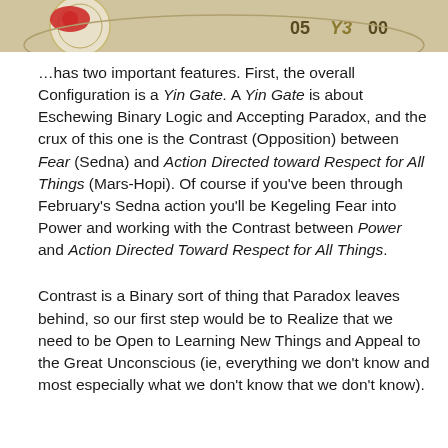[Figure (other): Partial view of an astrological chart or dial showing numbers 05, Y3, 00 and a decorative red/gold circular element on a tan/beige background]
…has two important features.  First, the overall Configuration is a Yin Gate.  A Yin Gate is about Eschewing Binary Logic and Accepting Paradox, and the crux of this one is the Contrast (Opposition) between Fear (Sedna) and Action Directed toward Respect for All Things (Mars-Hopi).  Of course if you've been through February's Sedna action you'll be Kegeling Fear into Power and working with the Contrast between Power and Action Directed Toward Respect for All Things.
Contrast is a Binary sort of thing that Paradox leaves behind, so our first step would be to Realize that we need to be Open to Learning New Things and Appeal to the Great Unconscious (ie, everything we don't know and most especially what we don't know that we don't know).